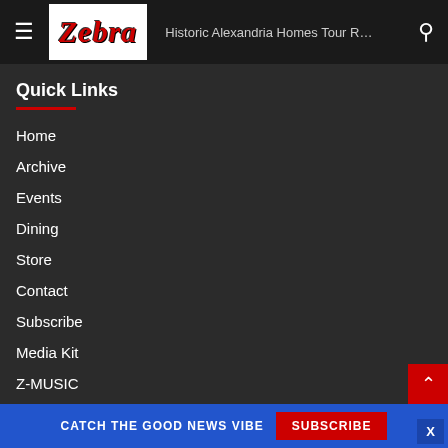Zebra — Historic Alexandria Homes Tour R…
Quick Links
Home
Archive
Events
Dining
Store
Contact
Subscribe
Media Kit
Z-MUSIC
CATCH THE GOOD NEWS VIBE  SUBSCRIBE  X